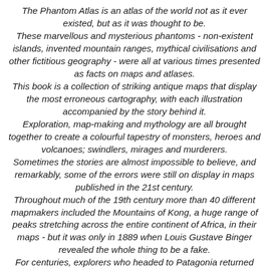The Phantom Atlas is an atlas of the world not as it ever existed, but as it was thought to be. These marvellous and mysterious phantoms - non-existent islands, invented mountain ranges, mythical civilisations and other fictitious geography - were all at various times presented as facts on maps and atlases. This book is a collection of striking antique maps that display the most erroneous cartography, with each illustration accompanied by the story behind it. Exploration, map-making and mythology are all brought together to create a colourful tapestry of monsters, heroes and volcanoes; swindlers, mirages and murderers. Sometimes the stories are almost impossible to believe, and remarkably, some of the errors were still on display in maps published in the 21st century. Throughout much of the 19th century more than 40 different mapmakers included the Mountains of Kong, a huge range of peaks stretching across the entire continent of Africa, in their maps - but it was only in 1889 when Louis Gustave Binger revealed the whole thing to be a fake. For centuries, explorers who headed to Patagonia returned with tales of the giants they had met who lived there, some